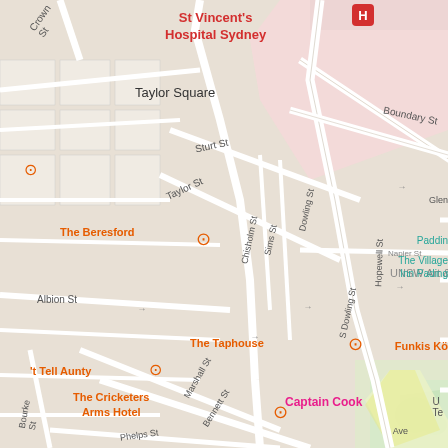[Figure (map): Google Maps view of Darlinghurst/Paddington area in Sydney, Australia, showing streets including Taylor Square, Sturt St, Taylor St, Chisholm St, Sims St, Dowling St, Oxford St, West St, Boundary St, Albion St, Selwyn St, Iris St, Marshall St, Bennett St, Phelps St, Bourke St. Points of interest include St Vincent's Hospital Sydney, The Beresford, N.Smith Gallery, The Unicorn Hotel, UNSW Art & Design, UNSW Galleries, ZIMMERMANN, Funkis Ko, The Taphouse, The Cricketers Arms Hotel, Captain Cook, Victoria Barracks Pass Office, The Village Inn Padding, Paddin.]